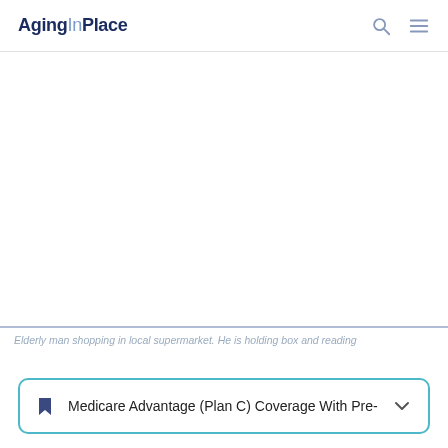AgingInPlace
[Figure (photo): Elderly man shopping in local supermarket. He is holding box and reading label.]
Elderly man shopping in local supermarket. He is holding box and reading
Medicare Advantage (Plan C) Coverage With Pre-